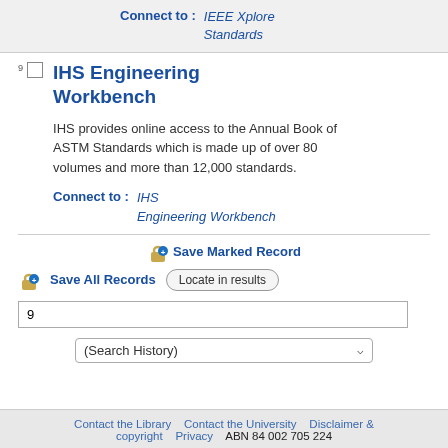Connect to : IEEE Xplore Standards
IHS Engineering Workbench
IHS provides online access to the Annual Book of ASTM Standards which is made up of over 80 volumes and more than 12,000 standards.
Connect to : IHS Engineering Workbench
Save Marked Record
Save All Records    Locate in results
9
(Search History)
Contact the Library   Contact the University   Disclaimer & copyright   Privacy   ABN 84 002 705 224